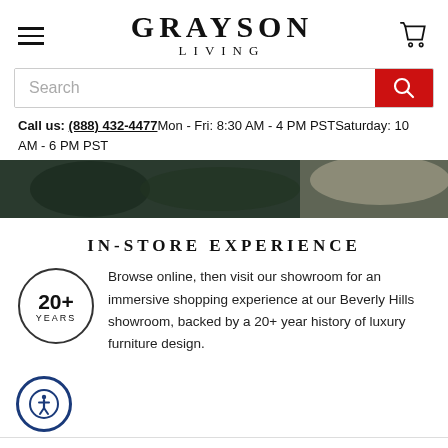[Figure (logo): Grayson Living logo with hamburger menu and cart icon]
Search
Call us: (888) 432-4477 Mon - Fri: 8:30 AM - 4 PM PST Saturday: 10 AM - 6 PM PST
[Figure (photo): Dark decorative furniture showroom hero image strip]
IN-STORE EXPERIENCE
[Figure (infographic): 20+ YEARS badge circle]
Browse online, then visit our showroom for an immersive shopping experience at our Beverly Hills showroom, backed by a 20+ year history of luxury furniture design.